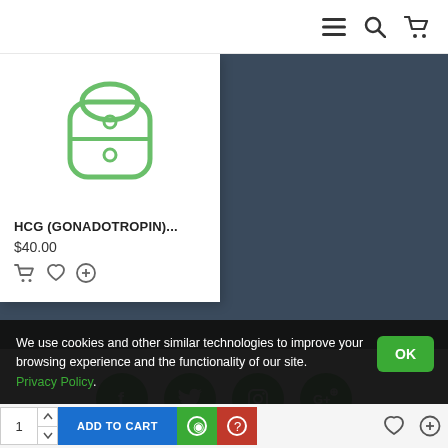Navigation bar with menu, search, and cart icons
[Figure (screenshot): Product card showing HCG (GONADOTROPIN) medication icon in green outline style on white background, priced at $40.00 with cart, wishlist, and compare icons]
HCG (GONADOTROPIN)...
$40.00
[Figure (infographic): Social media icons row: Facebook, Twitter, Instagram, Google+ — all green circles on light gray background]
We use cookies and other similar technologies to improve your browsing experience and the functionality of our site. Privacy Policy.
1 [arrows] ADD TO CART [icons] [heart] [compare]